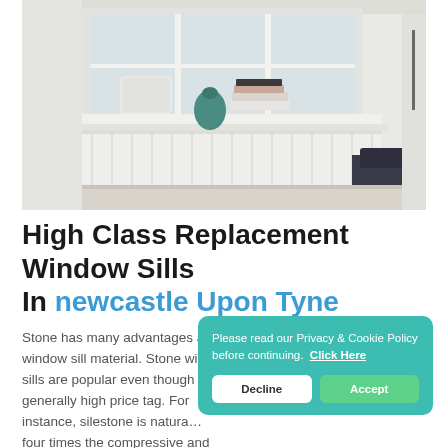[Figure (photo): Interior room photo showing white window sills with decorative items (white lamp, teal vase, stacked books), white radiator below, dark leather sofa to the right, and bright windows looking out to greenery.]
High Class Replacement Window Sills In newcastle Upon Tyne
Stone has many advantages as a window sill material. Stone window sills are popular even though their generally high price tag. For instance, silestone is naturally harder and has four times the compressive and tensile strength of granite
Please read our Privacy & Cookie Policy before continuing. Click Here
Decline
Accept